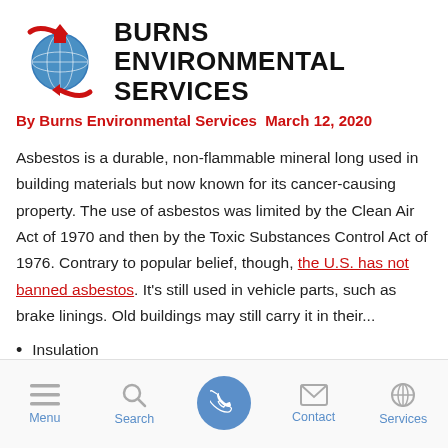[Figure (logo): Burns Environmental Services logo: globe with red arrows and house icon, beside bold black text 'BURNS ENVIRONMENTAL SERVICES']
By Burns Environmental Services  March 12, 2020
Asbestos is a durable, non-flammable mineral long used in building materials but now known for its cancer-causing property. The use of asbestos was limited by the Clean Air Act of 1970 and then by the Toxic Substances Control Act of 1976. Contrary to popular belief, though, the U.S. has not banned asbestos. It's still used in vehicle parts, such as brake linings. Old buildings may still carry it in their...
Insulation
Menu  Search  [Call]  Contact  Services